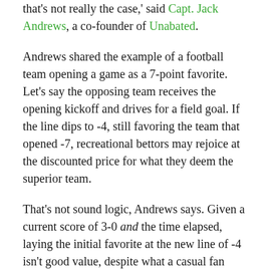that's not really the case,' said Capt. Jack Andrews, a co-founder of Unabated.
Andrews shared the example of a football team opening a game as a 7-point favorite. Let's say the opposing team receives the opening kickoff and drives for a field goal. If the line dips to -4, still favoring the team that opened -7, recreational bettors may rejoice at the discounted price for what they deem the superior team.
That's not sound logic, Andrews says. Given a current score of 3-0 and the time elapsed, laying the initial favorite at the new line of -4 isn't good value, despite what a casual fan may believe.
“A lot of people misunderstand it and say, ‘I’ll just wait for a time in the game when this team is at a better price. I’ll catch that, and I’ll have a better line than I would have if I bet pregame,’ and it’s not the case,” Andrews said.